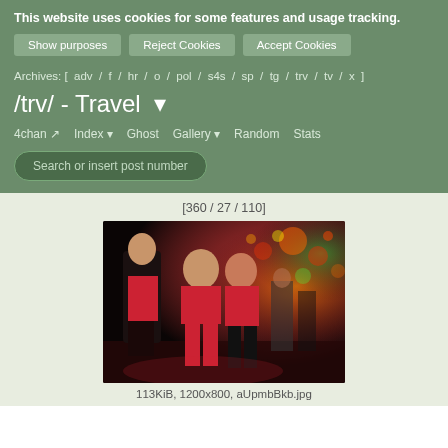This website uses cookies for some features and usage tracking.
Show purposes | Reject Cookies | Accept Cookies
Archives: [ adv / f / hr / o / pol / s4s / sp / tg / trv / tv / x ]
/trv/ - Travel
4chan  Index  Ghost  Gallery  Random  Stats
Search or insert post number
[360 / 27 / 110]
[Figure (photo): Street scene with young women in red outfits standing in a busy night market street with colorful bokeh lights in background]
113KiB, 1200x800, aUpmbBkb.jpg